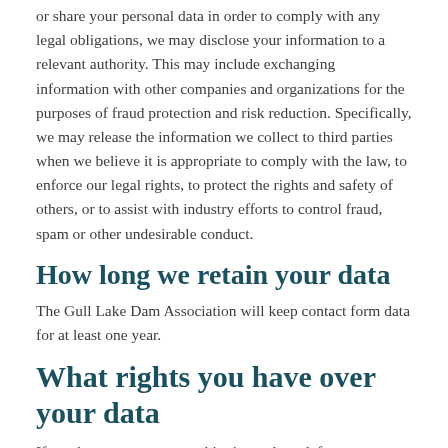or share your personal data in order to comply with any legal obligations, we may disclose your information to a relevant authority. This may include exchanging information with other companies and organizations for the purposes of fraud protection and risk reduction. Specifically, we may release the information we collect to third parties when we believe it is appropriate to comply with the law, to enforce our legal rights, to protect the rights and safety of others, or to assist with industry efforts to control fraud, spam or other undesirable conduct.
How long we retain your data
The Gull Lake Dam Association will keep contact form data for at least one year.
What rights you have over your data
If you have an account on this site, or have left comments, you can request to receive an exported file of the personal data we hold about you, including any data you have provided to us. You can also request